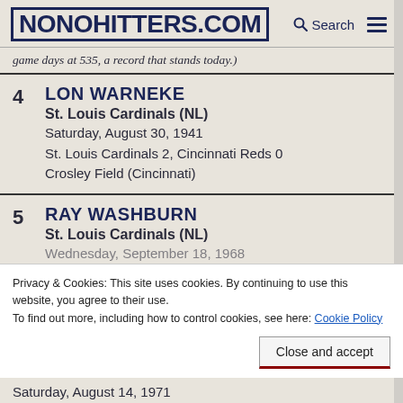NONOHITTERS.COM
game days at 535, a record that stands today.)
4 LON WARNEKE
St. Louis Cardinals (NL)
Saturday, August 30, 1941
St. Louis Cardinals 2, Cincinnati Reds 0
Crosley Field (Cincinnati)
5 RAY WASHBURN
St. Louis Cardinals (NL)
Wednesday, September 18, 1968
Saturday, August 14, 1971
Privacy & Cookies: This site uses cookies. By continuing to use this website, you agree to their use.
To find out more, including how to control cookies, see here: Cookie Policy